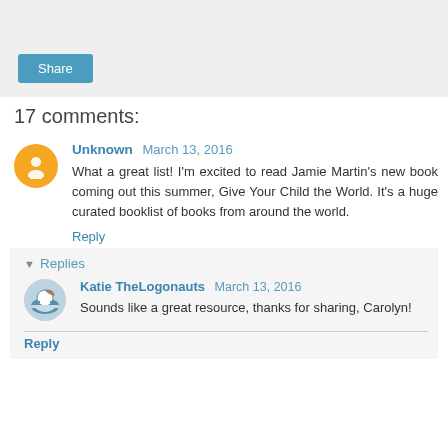[Figure (other): Share button bar with gray background and a blue Share button]
17 comments:
Unknown March 13, 2016
What a great list! I'm excited to read Jamie Martin's new book coming out this summer, Give Your Child the World. It's a huge curated booklist of books from around the world.
Reply
▾ Replies
Katie TheLogonauts March 13, 2016
Sounds like a great resource, thanks for sharing, Carolyn!
Reply